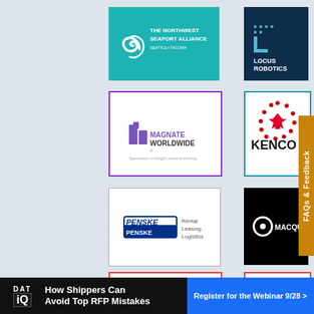[Figure (logo): The Northwest Seaport Alliance logo on teal/turquoise background]
[Figure (logo): Locus Robotics logo on dark navy background]
[Figure (logo): Magnate Worldwide logo on white background with purple border - Specialists in freight forward thinking]
[Figure (logo): Kenco logo on white background with teal border]
[Figure (logo): Penske Rental Leasing Logistics logo on white background]
[Figure (logo): Macquarie logo on black background]
[Figure (logo): Partial logo on white background with red border (row 4 left)]
[Figure (logo): GTS Global Technology Solutions partial logo on white with red border]
FAQs & Feedback
How Shippers Can Avoid Top RFP Mistakes
Register for the Webinar 9/28 >